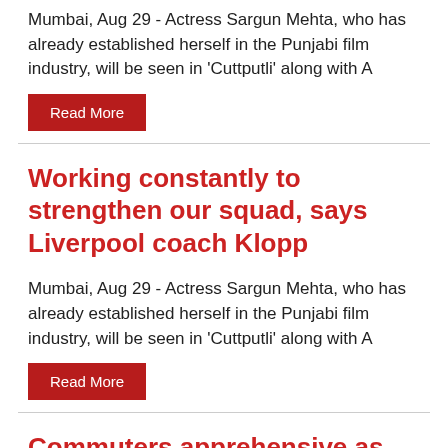Mumbai, Aug 29 - Actress Sargun Mehta, who has already established herself in the Punjabi film industry, will be seen in 'Cuttputli' along with A
Read More
Working constantly to strengthen our squad, says Liverpool coach Klopp
Mumbai, Aug 29 - Actress Sargun Mehta, who has already established herself in the Punjabi film industry, will be seen in 'Cuttputli' along with A
Read More
Commuters apprehensive as govt works on new method of toll collection